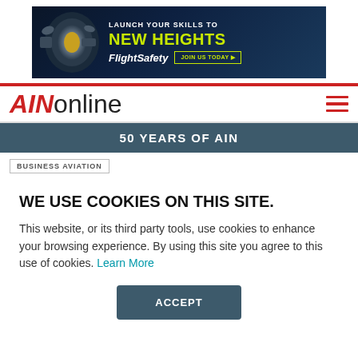[Figure (illustration): FlightSafety International advertisement banner with jet engine image and text 'LAUNCH YOUR SKILLS TO NEW HEIGHTS', FlightSafety logo and 'JOIN US TODAY' button]
AINonline
50 YEARS OF AIN
BUSINESS AVIATION
WE USE COOKIES ON THIS SITE.
This website, or its third party tools, use cookies to enhance your browsing experience. By using this site you agree to this use of cookies. Learn More
ACCEPT